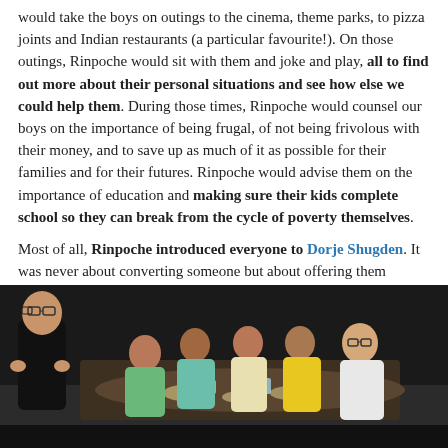would take the boys on outings to the cinema, theme parks, to pizza joints and Indian restaurants (a particular favourite!). On those outings, Rinpoche would sit with them and joke and play, all to find out more about their personal situations and see how else we could help them. During those times, Rinpoche would counsel our boys on the importance of being frugal, of not being frivolous with their money, and to save up as much of it as possible for their families and for their futures. Rinpoche would advise them on the importance of education and making sure their kids complete school so they can break from the cycle of poverty themselves.
Most of all, Rinpoche introduced everyone to Dorje Shugden. It was never about converting someone but about offering them another avenue for assistance, blessing and protection. For this reason, Rinpoche took care to explain the practice and origins of the Protector to them.
[Figure (photo): A group of young men and boys sitting around a restaurant table eating a meal together, with an older man in a black shirt with glasses standing on the left side talking to them. Watermark: www.tsemrinpoche.com]